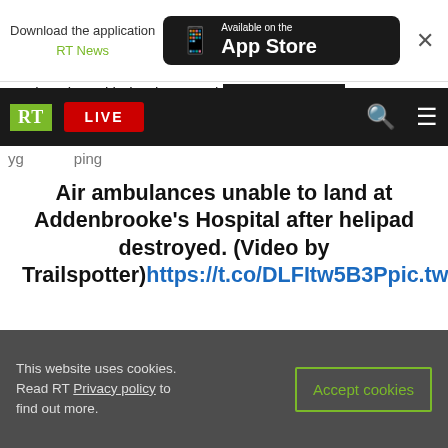Download the application RT News | Available on the App Store
RT LIVE [navigation bar]
Wednesday, with the downward blast of air from its
Air ambulances unable to land at Addenbrooke's Hospital after helipad destroyed. (Video by Trailspotter) https://t.co/DLFItw5B3Ppic.twi
— ITV News Anglia (@itvanglia) April 22, 2021
A major trauma center in East England, Addenbrooke's helipad destroyed
This website uses cookies. Read RT Privacy policy to find out more. Accept cookies